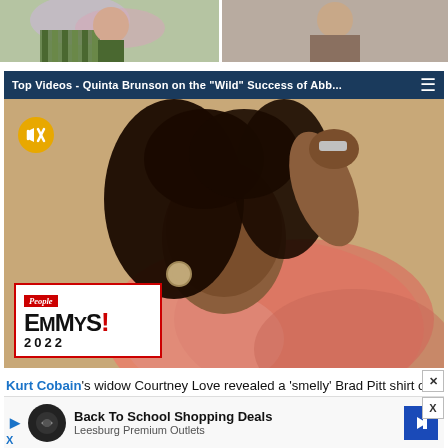[Figure (photo): Two cropped photos side by side at the top of the page — left shows a person in a green checkered outfit with flowers, right shows a man in a suit.]
[Figure (screenshot): Video player bar with dark blue background reading 'Top Videos - Quinta Brunson on the Wild Success of Abb...' with hamburger menu icon on right.]
[Figure (photo): Quinta Brunson posing in a pink feathery outfit with People Emmys 2022 badge overlay and a muted audio button in the top left corner.]
Kurt Cobain's widow Courtney Love revealed a 'smelly' Brad Pitt shirt on her social media account on her social media page. Kurt Cobain's daughter just leaked a creepy Kurt Cobai…
[Figure (screenshot): Advertisement banner: Back To School Shopping Deals - Leesburg Premium Outlets, with X (Twitter) close button.]